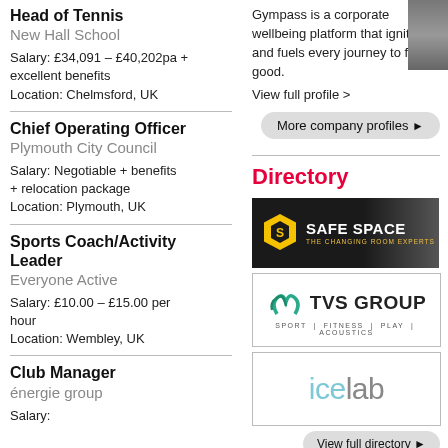Head of Tennis
New Hall School
Salary: £34,091 – £40,202pa + excellent benefits
Location: Chelmsford, UK
Chief Operating Officer
Plymouth City Council
Salary: Negotiable + benefits + relocation package
Location: Plymouth, UK
Sports Coach/Activity Leader
Everyone Active
Salary: £10.00 – £15.00 per hour
Location: Wembley, UK
Club Manager
énergie group
Salary:
Gympass is a corporate wellbeing platform that ignites and fuels every journey to feel good.
View full profile >
More company profiles ▶
Directory
[Figure (logo): Safe Space – The Changing Room Experts logo on dark background with lockers]
[Figure (logo): TVS Group – Sport | Fitness | Play | Acoustics logo]
[Figure (logo): icelab logo in light blue and grey]
View full directory ▶